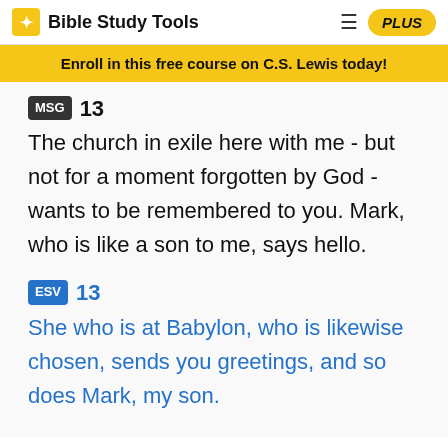Bible Study Tools | PLUS
Enroll in this free course on C.S. Lewis today!
MSG 13 The church in exile here with me - but not for a moment forgotten by God - wants to be remembered to you. Mark, who is like a son to me, says hello.
ESV 13 She who is at Babylon, who is likewise chosen, sends you greetings, and so does Mark, my son.